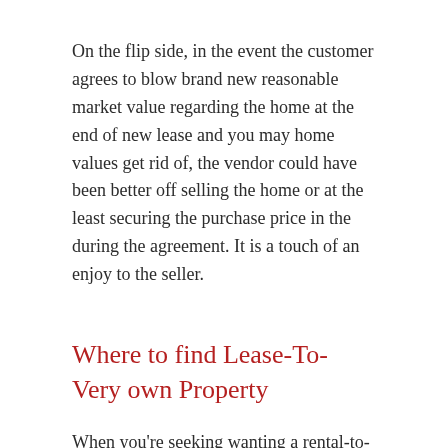On the flip side, in the event the customer agrees to blow brand new reasonable market value regarding the home at the end of new lease and you may home values get rid of, the vendor could have been better off selling the home or at the least securing the purchase price in the during the agreement. It is a touch of an enjoy to the seller.
Where to find Lease-To-Very own Property
When you're seeking wanting a rental-to-individual otherwise rent-to-own house, a beneficial place to start was filtering leasing postings to those that have a rent-to-own alternative. When you find yourself leasing someplace you love, you can also see if it's one thing your property owner will be looking for.